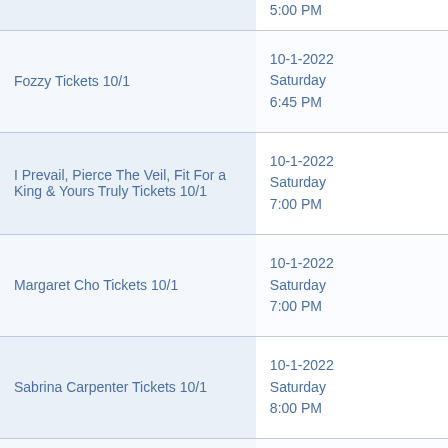| Event | Date/Time |
| --- | --- |
| [partial top row] | 5:00 PM |
| Fozzy Tickets 10/1 | 10-1-2022
Saturday
6:45 PM |
| I Prevail, Pierce The Veil, Fit For a King & Yours Truly Tickets 10/1 | 10-1-2022
Saturday
7:00 PM |
| Margaret Cho Tickets 10/1 | 10-1-2022
Saturday
7:00 PM |
| Sabrina Carpenter Tickets 10/1 | 10-1-2022
Saturday
8:00 PM |
| Brett Young Tickets 10/1 | 10-1-2022
Saturday
8:00 PM |
| Robert Fripp & David Singleton Tickets 10/1 | 10-1-2022
Saturday
8:00 PM |
| Margaret Cho Tickets 10/1 | 10-1-2022
Saturday
9:30 PM |